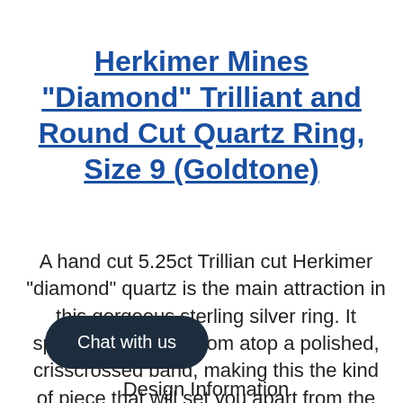Herkimer Mines "Diamond" Trilliant and Round Cut Quartz Ring, Size 9 (Goldtone)
A hand cut 5.25ct Trillian cut Herkimer "diamond" quartz is the main attraction in this gorgeous sterling silver ring. It sparkles brilliantly from atop a polished, crisscrossed band, making this the kind of piece that will set you apart from the crowd!
Design Information
[Figure (other): Chat with us button overlay]